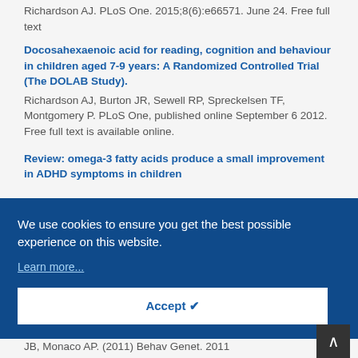Richardson AJ. PLoS One. 2015;8(6):e66571. June 24. Free full text
Docosahexaenoic acid for reading, cognition and behaviour in children aged 7-9 years: A Randomized Controlled Trial (The DOLAB Study).
Richardson AJ, Burton JR, Sewell RP, Spreckelsen TF, Montgomery P. PLoS One, published online September 6 2012. Free full text is available online.
Review: omega-3 fatty acids produce a small improvement in ADHD symptoms in children
[Figure (screenshot): Cookie consent banner with dark blue background. Text: 'We use cookies to ensure you get the best possible experience on this website.' Link: 'Learn more...' Button: 'Accept ✓']
JB, Monaco AP. (2011) Behav Genet. 2011